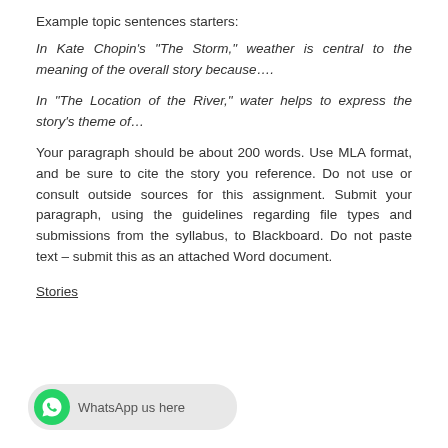Example topic sentences starters:
In Kate Chopin's “The Storm,” weather is central to the meaning of the overall story because….
In “The Location of the River,” water helps to express the story’s theme of…
Your paragraph should be about 200 words. Use MLA format, and be sure to cite the story you reference. Do not use or consult outside sources for this assignment. Submit your paragraph, using the guidelines regarding file types and submissions from the syllabus, to Blackboard. Do not paste text – submit this as an attached Word document.
Stories